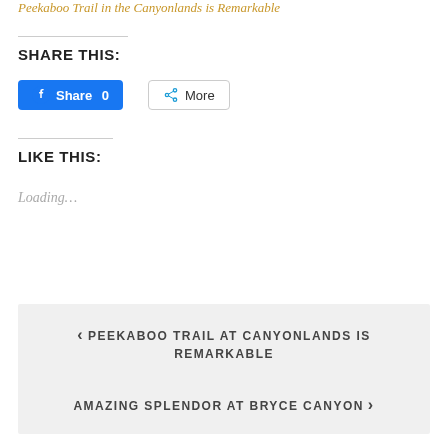Peekaboo Trail in the Canyonlands is Remarkable
SHARE THIS:
Share 0   More
LIKE THIS:
Loading...
‹ PEEKABOO TRAIL AT CANYONLANDS IS REMARKABLE
AMAZING SPLENDOR AT BRYCE CANYON ›